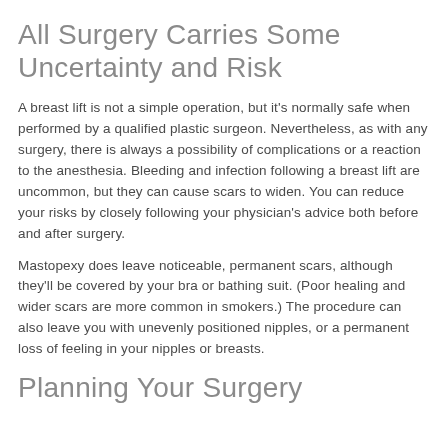All Surgery Carries Some Uncertainty and Risk
A breast lift is not a simple operation, but it's normally safe when performed by a qualified plastic surgeon. Nevertheless, as with any surgery, there is always a possibility of complications or a reaction to the anesthesia. Bleeding and infection following a breast lift are uncommon, but they can cause scars to widen. You can reduce your risks by closely following your physician's advice both before and after surgery.
Mastopexy does leave noticeable, permanent scars, although they'll be covered by your bra or bathing suit. (Poor healing and wider scars are more common in smokers.) The procedure can also leave you with unevenly positioned nipples, or a permanent loss of feeling in your nipples or breasts.
Planning Your Surgery